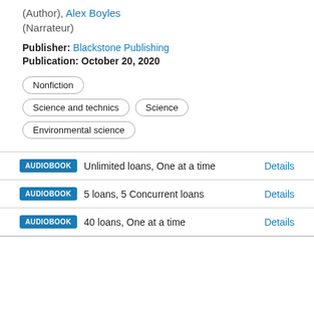(Author), Alex Boyles (Narrateur)
Publisher: Blackstone Publishing
Publication: October 20, 2020
Nonfiction
Science and technics
Science
Environmental science
AUDIOBOOK   Unlimited loans, One at a time   Details
AUDIOBOOK   5 loans, 5 Concurrent loans   Details
AUDIOBOOK   40 loans, One at a time   Details